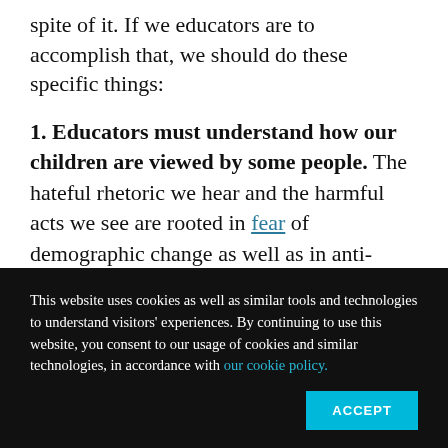spite of it. If we educators are to accomplish that, we should do these specific things:
1. Educators must understand how our children are viewed by some people. The hateful rhetoric we hear and the harmful acts we see are rooted in fear of demographic change as well as in anti-blackness. Anti-blackness is a part of our nation's DNA, laid bare in public policy and public perception. For example, a
This website uses cookies as well as similar tools and technologies to understand visitors' experiences. By continuing to use this website, you consent to our usage of cookies and similar technologies, in accordance with our cookie policy.